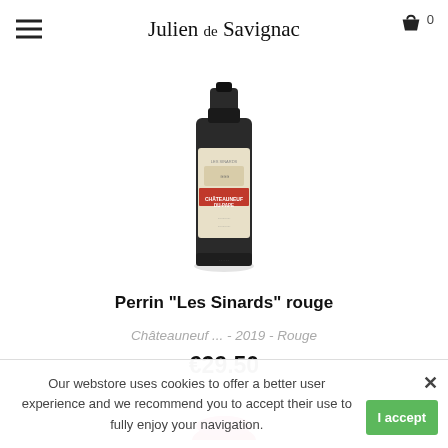Julien de Savignac
[Figure (photo): Wine bottle of Perrin Les Sinards Châteauneuf-du-Pape rouge, showing the label with the château illustration and CHÂTEAUNEUF-DU-PAPE text]
Perrin "Les Sinards" rouge
Châteauneuf ... - 2019 - Rouge
€29.50
[Figure (photo): Top of a second wine bottle showing a red/pink capsule, partially visible]
Our webstore uses cookies to offer a better user experience and we recommend you to accept their use to fully enjoy your navigation.